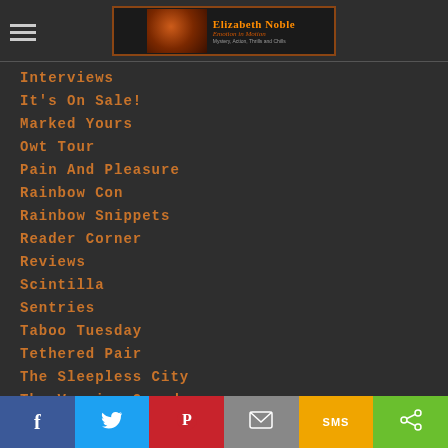[Figure (logo): Elizabeth Noble author logo with moon/planet image and text 'Emotion in Motion, Mystery, Action, Thrills and Chills']
Interviews
It's On Sale!
Marked Yours
Owt Tour
Pain And Pleasure
Rainbow Con
Rainbow Snippets
Reader Corner
Reviews
Scintilla
Sentries
Taboo Tuesday
Tethered Pair
The Sleepless City
The Vampire Guard
Facebook, Twitter, Pinterest, Email, SMS, Share